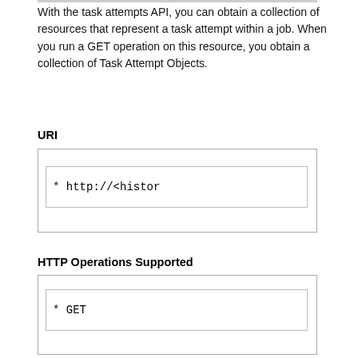With the task attempts API, you can obtain a collection of resources that represent a task attempt within a job. When you run a GET operation on this resource, you obtain a collection of Task Attempt Objects.
URI
[Figure (other): Code box showing URI: * http://<histor]
HTTP Operations Supported
[Figure (other): Code box showing HTTP operation: * GET]